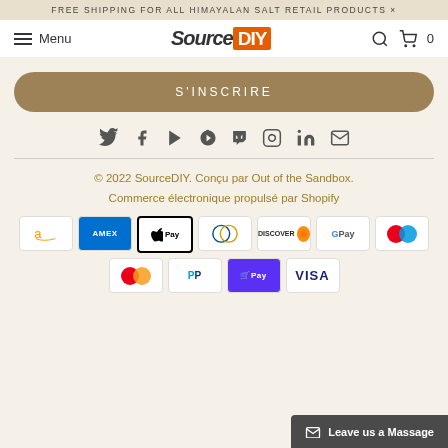FREE SHIPPING FOR ALL HIMAYALAN SALT RETAIL PRODUCTS ×
Menu | SourceDIY | Search | Cart 0
S'INSCRIRE
[Figure (infographic): Social media icons row: Twitter, Facebook, YouTube, Pinterest, Tumblr, Instagram, LinkedIn, Email]
© 2022 SourceDIY. Conçu par Out of the Sandbox. Commerce électronique propulsé par Shopify
[Figure (infographic): Payment method icons: Amazon, American Express, Apple Pay, Diners Club, Discover, Google Pay, Mastercard (row 1); Mastercard, PayPal, Shop Pay, Visa (row 2)]
Leave us a Massage